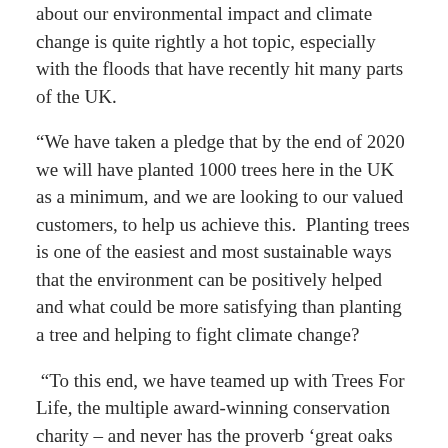about our environmental impact and climate change is quite rightly a hot topic, especially with the floods that have recently hit many parts of the UK.
“We have taken a pledge that by the end of 2020 we will have planted 1000 trees here in the UK as a minimum, and we are looking to our valued customers, to help us achieve this.  Planting trees is one of the easiest and most sustainable ways that the environment can be positively helped and what could be more satisfying than planting a tree and helping to fight climate change?
“To this end, we have teamed up with Trees For Life, the multiple award-winning conservation charity – and never has the proverb ‘great oaks from little acorns grow’ been truer.”